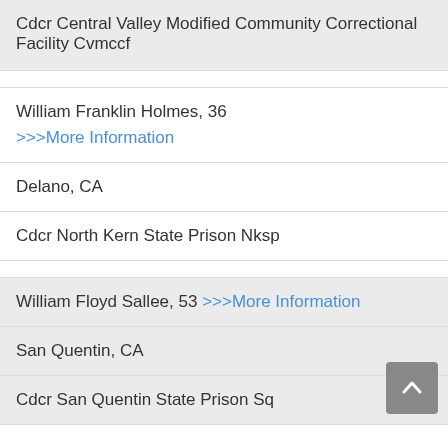Cdcr Central Valley Modified Community Correctional Facility Cvmccf
William Franklin Holmes, 36
>>>More Information
Delano, CA
Cdcr North Kern State Prison Nksp
William Floyd Sallee, 53 >>>More Information
San Quentin, CA
Cdcr San Quentin State Prison Sq